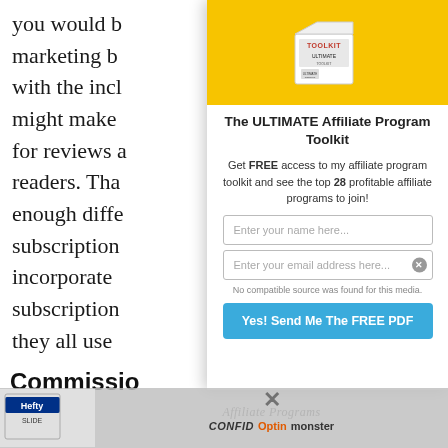you would b marketing b with the incl might make for reviews a readers. Tha enough diffe subscription incorporate subscription they all use
[Figure (illustration): Popup overlay with a yellow background showing a box labeled 'ULTIMATE TOOLKIT', titled 'The ULTIMATE Affiliate Program Toolkit', with description text, name and email input fields, and a blue button 'Yes! Send Me The FREE PDF']
The ULTIMATE Affiliate Program Toolkit
Get FREE access to my affiliate program toolkit and see the top 28 profitable affiliate programs to join!
Enter your name here...
Enter your email address here...
No compatible source was found for this media.
Yes! Send Me The FREE PDF
Commissio
[Figure (photo): Bottom bar with Hefty product image on left, italic affiliate program text, CONFID text and Optinmonster branding]